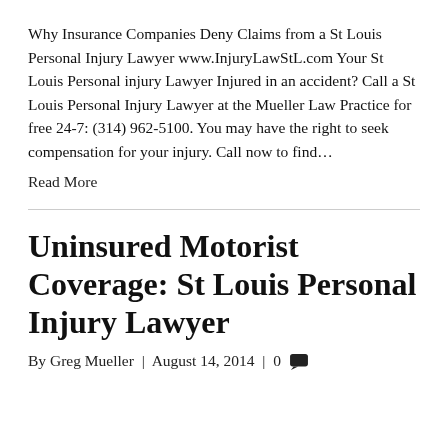Why Insurance Companies Deny Claims from a St Louis Personal Injury Lawyer www.InjuryLawStL.com Your St Louis Personal injury Lawyer Injured in an accident? Call a St Louis Personal Injury Lawyer at the Mueller Law Practice for free 24-7: (314) 962-5100. You may have the right to seek compensation for your injury. Call now to find…
Read More
Uninsured Motorist Coverage: St Louis Personal Injury Lawyer
By Greg Mueller | August 14, 2014 | 0